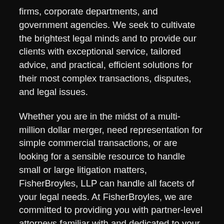firms, corporate departments, and government agencies. We seek to cultivate the brightest legal minds and to provide our clients with exceptional service, tailored advice, and practical, efficient solutions for their most complex transactions, disputes, and legal issues.
Whether you are in the midst of a multi-million dollar merger, need representation for simple commercial transactions, or are looking for a sensible resource to handle small or large litigation matters, FisherBroyles, LLP can handle all facets of your legal needs. At FisherBroyles, we are committed to providing you with partner-level attorneys familiar with and dedicated to your business and legal needs.
Our partners are veterans of many of the most sophisticated corporate legal departments and government agencies, and many have joined us from large and prestigious Am Law 200 firms, including Allen & Overy, Crowell, Baker McKenzie, Davis...